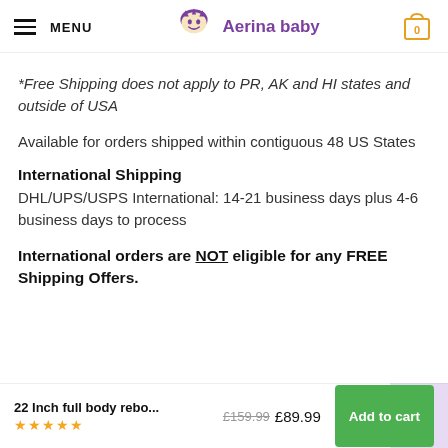MENU — Aerina baby — cart 0
*Free Shipping does not apply to PR, AK and HI states and outside of USA
Available for orders shipped within contiguous 48 US States
International Shipping
DHL/UPS/USPS International: 14-21 business days plus 4-6 business days to process
International orders are NOT eligible for any FREE Shipping Offers.
22 Inch full body rebo... £159.99 £89.99 ★★★★★ Add to cart